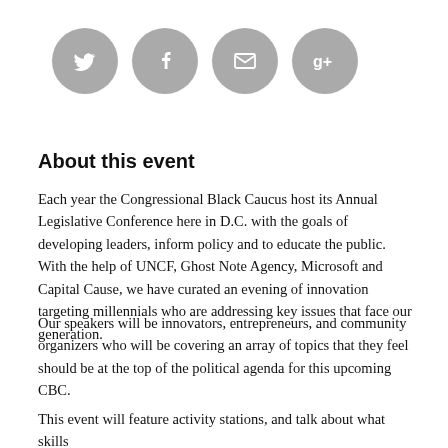[Figure (illustration): Four social media icon circles in gray: Twitter bird, Facebook f, Email envelope, Google+ g+]
About this event
Each year the Congressional Black Caucus host its Annual Legislative Conference here in D.C. with the goals of developing leaders, inform policy and to educate the public. With the help of UNCF, Ghost Note Agency, Microsoft and Capital Cause, we have curated an evening of innovation targeting millennials who are addressing key issues that face our generation.
Our speakers will be innovators, entrepreneurs, and community organizers who will be covering an array of topics that they feel should be at the top of the political agenda for this upcoming CBC.
This event will feature activity stations, and talk about what skills